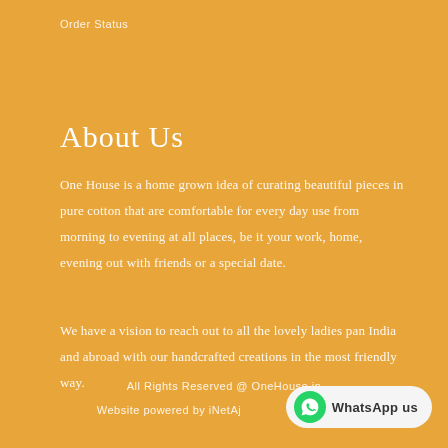Order Status
About Us
One House is a home grown idea of curating beautiful pieces in pure cotton that are comfortable for every day use from morning to evening at all places, be it your work, home, evening out with friends or a special date.
We have a vision to reach out to all the lovely ladies pan India and abroad with our handcrafted creations in the most friendly way.
All Rights Reserved @ OneHouse.in
Website powered by iNetAj... WhatsApp us